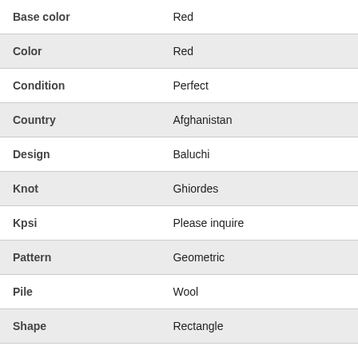| Attribute | Value |
| --- | --- |
| Base color | Red |
| Color | Red |
| Condition | Perfect |
| Country | Afghanistan |
| Design | Baluchi |
| Knot | Ghiordes |
| Kpsi | Please inquire |
| Pattern | Geometric |
| Pile | Wool |
| Shape | Rectangle |